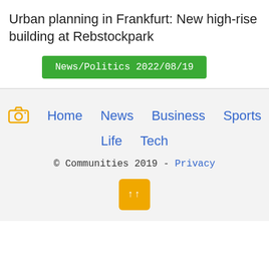Urban planning in Frankfurt: New high-rise building at Rebstockpark
News/Politics 2022/08/19
Home  News  Business  Sports  Life  Tech  © Communities 2019 - Privacy  ↑↑